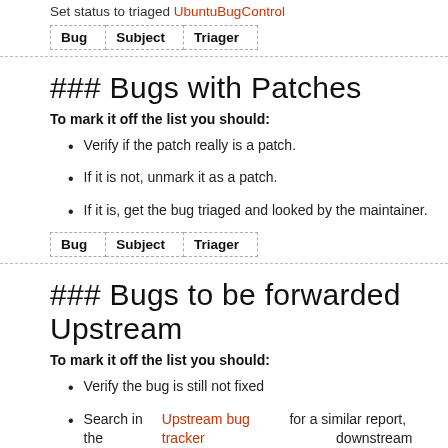Set status to triaged UbuntuBugControl
| Bug | Subject | Triager |
| --- | --- | --- |
### Bugs with Patches
To mark it off the list you should:
Verify if the patch really is a patch.
If it is not, unmark it as a patch.
If it is, get the bug triaged and looked by the maintainer.
| Bug | Subject | Triager |
| --- | --- | --- |
### Bugs to be forwarded Upstream
To mark it off the list you should:
Verify the bug is still not fixed
Search in the Upstream bug tracker for a similar report, downstream report.